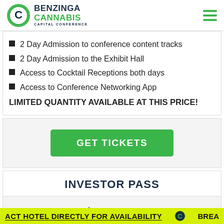Benzinga Cannabis Capital Conference
2 Day Admission to conference content tracks
2 Day Admission to the Exhibit Hall
Access to Cocktail Receptions both days
Access to Conference Networking App
LIMITED QUANTITY AVAILABLE AT THIS PRICE!
GET TICKETS
INVESTOR PASS
$297.00
ACT HOTEL DIRECTLY FOR AVAILABILITY   BREA